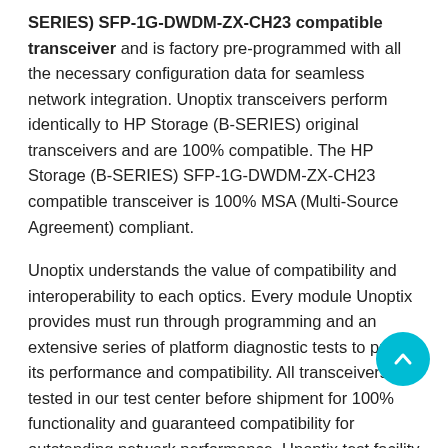SERIES) SFP-1G-DWDM-ZX-CH23 compatible transceiver and is factory pre-programmed with all the necessary configuration data for seamless network integration. Unoptix transceivers perform identically to HP Storage (B-SERIES) original transceivers and are 100% compatible. The HP Storage (B-SERIES) SFP-1G-DWDM-ZX-CH23 compatible transceiver is 100% MSA (Multi-Source Agreement) compliant.
Unoptix understands the value of compatibility and interoperability to each optics. Every module Unoptix provides must run through programming and an extensive series of platform diagnostic tests to prove its performance and compatibility. All transceivers are tested in our test center before shipment for 100% functionality and guaranteed compatibility for outstanding network performance. Unoptix test facility comprises of a broad selection of original brand network equipments. Our skilled staff help our customers to make the most out of